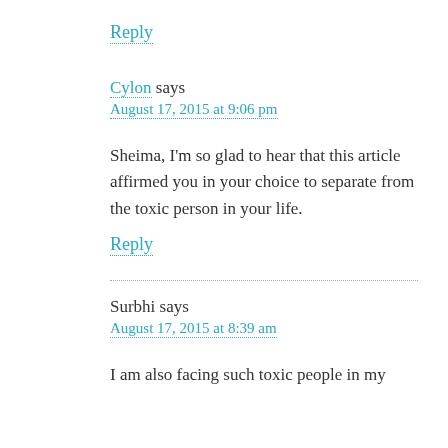Reply
Cylon says
August 17, 2015 at 9:06 pm
Sheima, I'm so glad to hear that this article affirmed you in your choice to separate from the toxic person in your life.
Reply
Surbhi says
August 17, 2015 at 8:39 am
I am also facing such toxic people in my